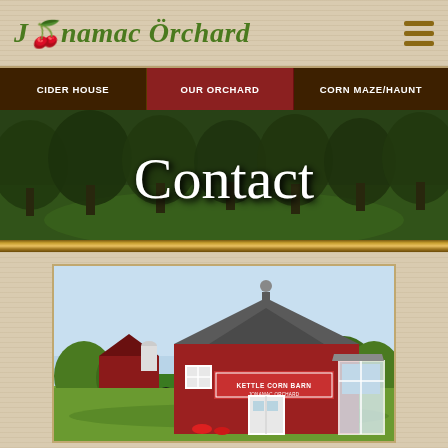Jonamac Orchard
CIDER HOUSE | OUR ORCHARD | CORN MAZE/HAUNT
[Figure (photo): Orchard scene with trees and green grass, with 'Contact' text overlay in white script font]
[Figure (photo): A red barn building labeled 'Kettle Corn Barn' with a larger red barn and tractor visible in background, blue sky, surrounded by orchard trees]